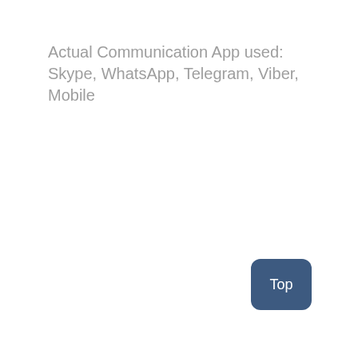Actual Communication App used: Skype, WhatsApp, Telegram, Viber, Mobile
Top